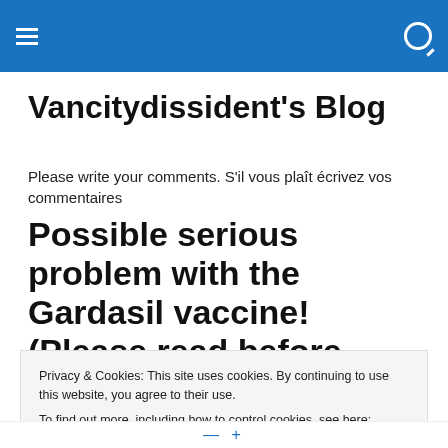Vancitydissident's Blog – site navigation header with hamburger menu and search icon
Vancitydissident's Blog
Please write your comments. S'il vous plaît écrivez vos commentaires
Possible serious problem with the Gardasil vaccine! (Please read before use! Please reach
Privacy & Cookies: This site uses cookies. By continuing to use this website, you agree to their use.
To find out more, including how to control cookies, see here: Cookie Policy